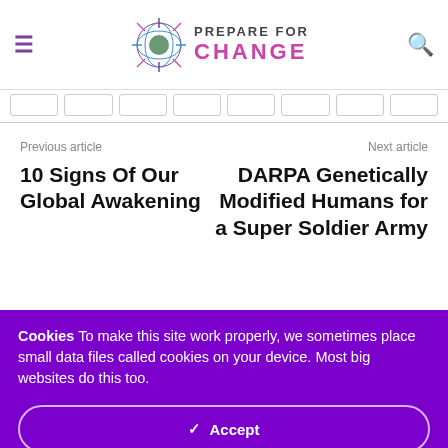Prepare For Change
Previous article
10 Signs Of Our Global Awakening
Next article
DARPA Genetically Modified Humans for a Super Soldier Army
Cookies To make this site work properly, we sometimes place small data files called cookies on your device. Most big websites do this too.
✓ Accept
Change Settings ⚙